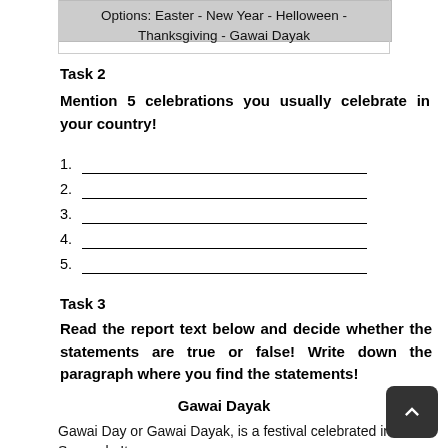Options: Easter - New Year - Helloween - Thanksgiving - Gawai Dayak
Task 2
Mention 5 celebrations you usually celebrate in your country!
1. ___________________________________
2. ___________________________________
3. ___________________________________
4. ___________________________________
5. ___________________________________
Task 3
Read the report text below and decide whether the statements are true or false! Write down the paragraph where you find the statements!
Gawai Dayak
Gawai Day or Gawai Dayak, is a festival celebrated in Sarawak. It